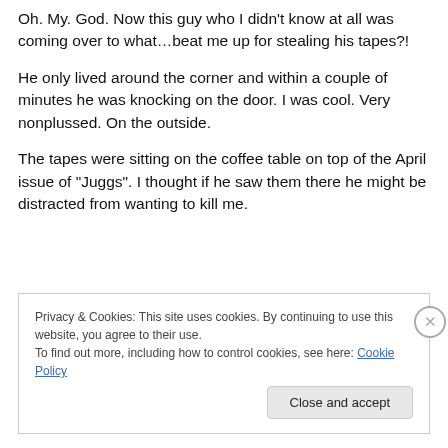Oh. My. God.  Now this guy who I didn't know at all was coming over to what…beat me up for stealing his tapes?!
He only lived around the corner and within a couple of minutes he was knocking on the door.  I was cool.  Very nonplussed.  On the outside.
The tapes were sitting on the coffee table on top of the April issue of "Juggs".  I thought if he saw them there he might be distracted from wanting to kill me.
Privacy & Cookies: This site uses cookies. By continuing to use this website, you agree to their use.
To find out more, including how to control cookies, see here: Cookie Policy
Close and accept